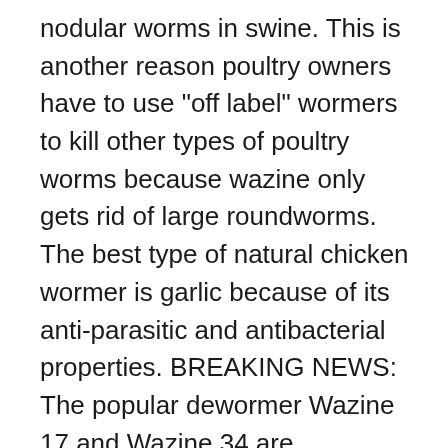nodular worms in swine. This is another reason poultry owners have to use "off label" wormers to kill other types of poultry worms because wazine only gets rid of large roundworms. The best type of natural chicken wormer is garlic because of its anti-parasitic and antibacterial properties. BREAKING NEWS: The popular dewormer Wazine 17 and Wazine 34 are discontinued effective immediately. New posts New media New articles New media comments New article comments New profile posts Latest activity New showcase items New showcase comments. Notice: Changing your store affects Valbazen is a relatively safe dewormer in that it simply starves the worms inside of the animal. If one or two birds are showing clinical signs, you should probably go ahead and treat the whole flock, since the ones displaying the signs are just the worst ones. I plan to treat the whole flock. Order now or request a free Farm & Ranch supply catalog